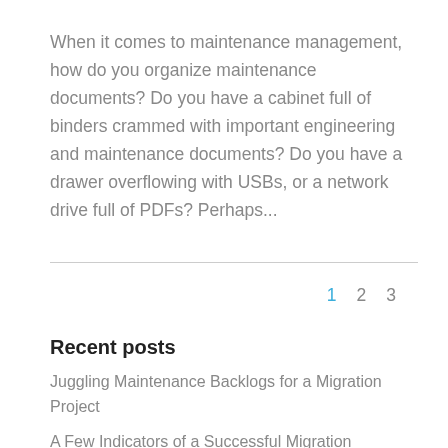When it comes to maintenance management, how do you organize maintenance documents? Do you have a cabinet full of binders crammed with important engineering and maintenance documents? Do you have a drawer overflowing with USBs, or a network drive full of PDFs? Perhaps...
Recent posts
Juggling Maintenance Backlogs for a Migration Project
A Few Indicators of a Successful Migration
Data Testing During a Migration: What to Expect